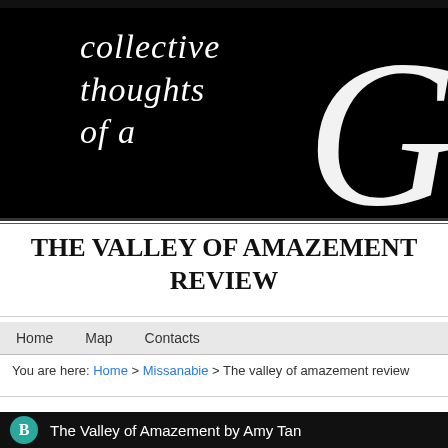[Figure (illustration): Black banner header with white italic script text reading 'collective thoughts of a' and a large decorative white italic letter G on the right side]
THE VALLEY OF AMAZEMENT REVIEW
Home   Map   Contacts
You are here: Home > Missanabie > The valley of amazement review
B   The Valley of Amazement by Amy Tan